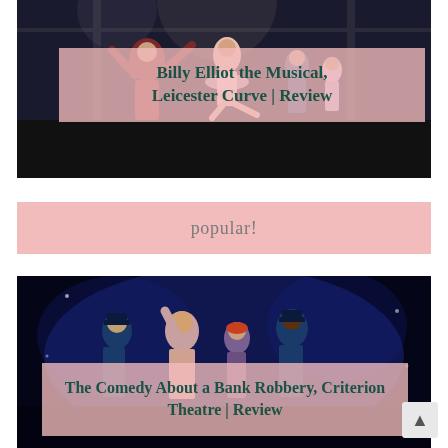[Figure (photo): Theatre stage scene from Billy Elliot the Musical showing dancers/performers in a dance studio setting with a dark background]
Billy Elliot the Musical, Leicester Curve | Review
popular!
[Figure (photo): Theatre stage scene from The Comedy About a Bank Robbery showing performers in navy/blue costumes with dramatic lighting]
The Comedy About a Bank Robbery, Criterion Theatre | Review